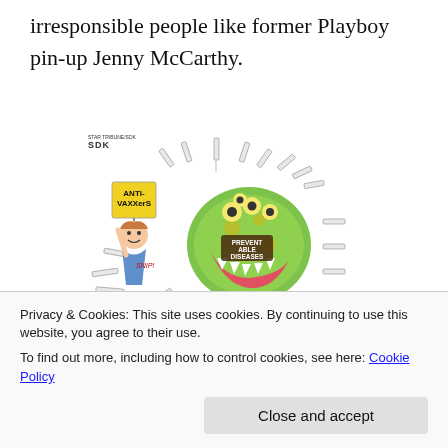irresponsible people like former Playboy pin-up Jenny McCarthy.
[Figure (illustration): Editorial cartoon showing a monster labeled 'Preventable Diseases' surrounded by syringes, with a person holding an 'Anti-Vaxxers' sign. Cartoon credit: Star Tribune/SDK.]
Too many listen to her rather than the medical
Privacy & Cookies: This site uses cookies. By continuing to use this website, you agree to their use.
To find out more, including how to control cookies, see here: Cookie Policy